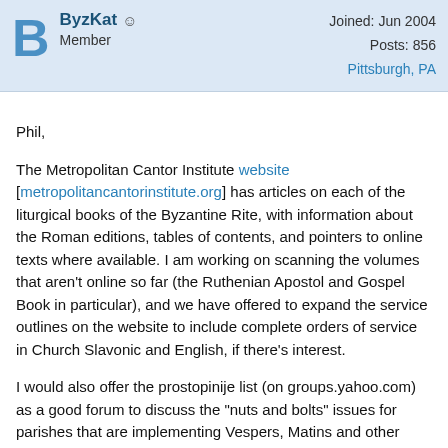ByzKat | Member | Joined: Jun 2004 | Posts: 856 | Pittsburgh, PA
Phil,

The Metropolitan Cantor Institute website [metropolitancantorinstitute.org] has articles on each of the liturgical books of the Byzantine Rite, with information about the Roman editions, tables of contents, and pointers to online texts where available. I am working on scanning the volumes that aren't online so far (the Ruthenian Apostol and Gospel Book in particular), and we have offered to expand the service outlines on the website to include complete orders of service in Church Slavonic and English, if there's interest.

I would also offer the prostopinije list (on groups.yahoo.com) as a good forum to discuss the "nuts and bolts" issues for parishes that are implementing Vespers, Matins and other services. The loss of these services for the last 50 years has immeasurably impacted our church's liturgical life.

Yours in Christ,
Jeff Mierzejewski
[Figure (other): Scroll-to-top button (circle with upward chevron)]